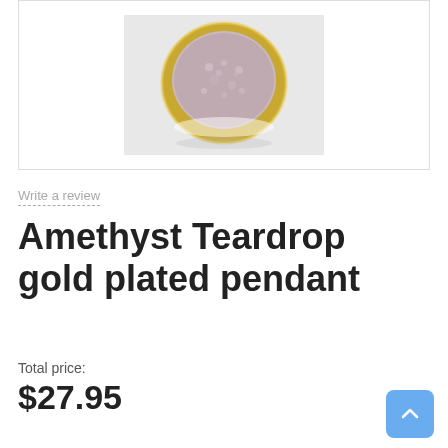[Figure (photo): A circular amethyst teardrop pendant with gold plating, photographed on a white background. The pendant shows a druzy crystal surface in pinkish-purple tones set in a gold bezel.]
Write a review
Amethyst Teardrop gold plated pendant
Total price:
$27.95